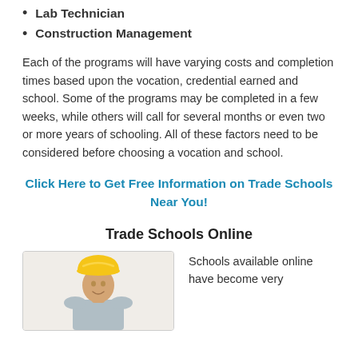Lab Technician
Construction Management
Each of the programs will have varying costs and completion times based upon the vocation, credential earned and school. Some of the programs may be completed in a few weeks, while others will call for several months or even two or more years of schooling. All of these factors need to be considered before choosing a vocation and school.
Click Here to Get Free Information on Trade Schools Near You!
Trade Schools Online
[Figure (photo): Man wearing a yellow hard hat, photo used to illustrate trade schools online section]
Schools available online have become very